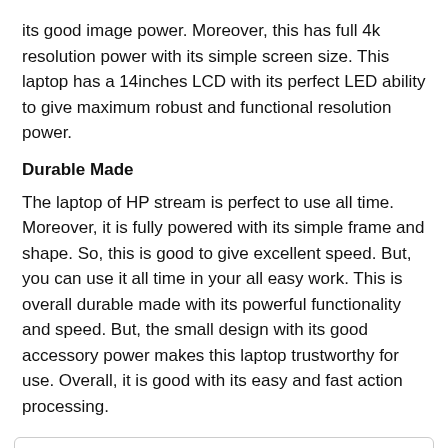its good image power. Moreover, this has full 4k resolution power with its simple screen size. This laptop has a 14inches LCD with its perfect LED ability to give maximum robust and functional resolution power.
Durable Made
The laptop of HP stream is perfect to use all time. Moreover, it is fully powered with its simple frame and shape. So, this is good to give excellent speed. But, you can use it all time in your all easy work. This is overall durable made with its powerful functionality and speed. But, the small design with its good accessory power makes this laptop trustworthy for use. Overall, it is good with its easy and fast action processing.
Pros
Good solid made